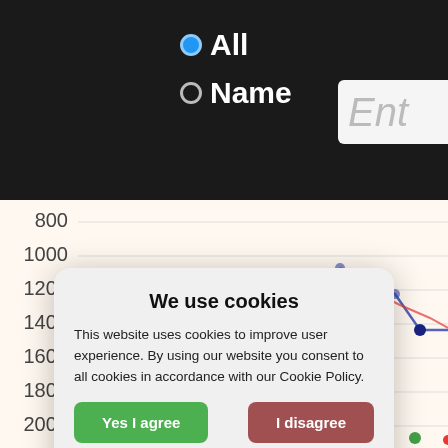[Figure (screenshot): Website UI screenshot showing radio buttons labeled 'All' and 'Name' with a search/entry box, overlaid with a cookie consent modal dialog. Behind the modal is a partially visible line chart with y-axis labels 800, 1000, 1200, 1400, 1600, 1800, 2000.]
We use cookies
This website uses cookies to improve user experience. By using our website you consent to all cookies in accordance with our Cookie Policy.
Yes I agree
I disagree
Read more
Free cookie consent by cookie-script.com